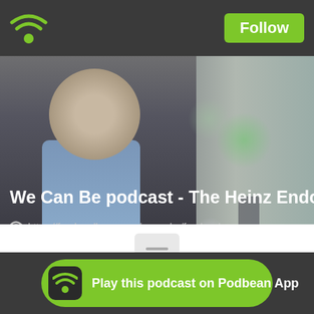[Figure (screenshot): Podbean podcast app interface screenshot showing a top dark navigation bar with green wifi logo and Follow button, a hero photo of a middle-aged man with glasses walking on a city street, podcast title overlay, feed URL, a divider with document icon, and a bottom bar with 'Play this podcast on Podbean App' button]
We Can Be podcast - The Heinz Endowme...
https://feed.podbean.com/wecanbe/feed.xml
Play this podcast on Podbean App